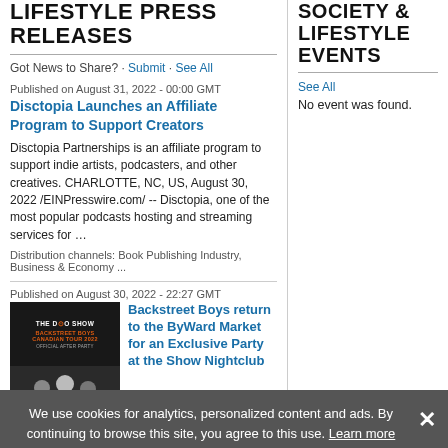LIFESTYLE PRESS RELEASES
Got News to Share? · Submit · See All
Published on August 31, 2022 - 00:00 GMT
Disctopia Launches an Affiliate Program to Support Creators
Disctopia Partnerships is an affiliate program to support indie artists, podcasters, and other creatives. CHARLOTTE, NC, US, August 30, 2022 /EINPresswire.com/ -- Disctopia, one of the most popular podcasts hosting and streaming services for …
Distribution channels: Book Publishing Industry, Business & Economy ...
Published on August 30, 2022 - 22:27 GMT
[Figure (photo): THE DIO SHOW - Backstreet Boys promotional image with official after party text]
Backstreet Boys return to the ByWard Market for an Exclusive Party at the Show Nightclub
SOCIETY & LIFESTYLE EVENTS
See All
No event was found.
We use cookies for analytics, personalized content and ads. By continuing to browse this site, you agree to this use. Learn more